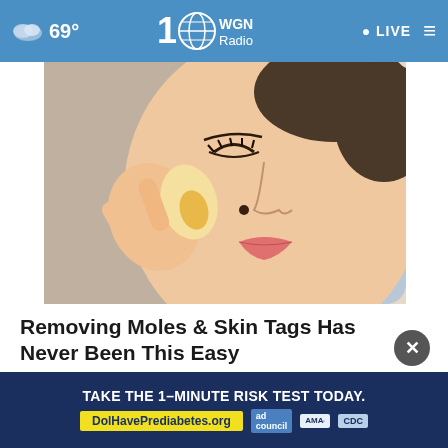☁ 69° | WGN Radio 100 | LIVE
[Figure (illustration): Illustrated close-up of a woman's face with eyes closed, holding an egg against her cheek; cartoon/illustration style for skin tag removal advertisement]
Removing Moles & Skin Tags Has Never Been This Easy
Ad by Mole & Skin Tag Removal
AROUND THE WEB
[Figure (logo): Taboola logo — circular logo with green and dark segments]
[Figure (screenshot): Bottom advertisement banner: TAKE THE 1-MINUTE RISK TEST TODAY. DolHavePrediabetes.org with ad council, AMA, and CDC logos]
TAKE THE 1-MINUTE RISK TEST TODAY. DolHavePrediabetes.org